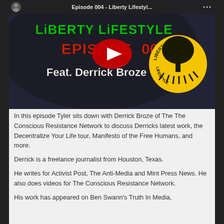[Figure (screenshot): YouTube video thumbnail for 'Episode 004 - Liberty Lifestyle' featuring text 'LIBERTY LIFESTYLE EPISODE 004 Feat. Derrick Broze' with a YouTube play button overlay and Liberty Lifestyle logo (tree in yellow circle) on the right.]
In this episode Tyler sits down with Derrick Broze of The The Conscious Resistance Network to discuss Derricks latest work, the Decentralize Your Life tour, Manifesto of the Free Humans, and more.
Derrick is a freelance journalist from Houston, Texas.
He writes for Activist Post, The Anti-Media and Mint Press News. He also does videos for The Conscious Resistance Network.
His work has appeared on Ben Swann's Truth In Media,